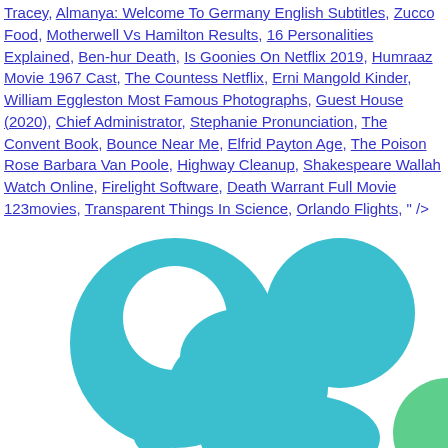Tracey, Almanya: Welcome To Germany English Subtitles, Zucco Food, Motherwell Vs Hamilton Results, 16 Personalities Explained, Ben-hur Death, Is Goonies On Netflix 2019, Humraaz Movie 1967 Cast, The Countess Netflix, Erni Mangold Kinder, William Eggleston Most Famous Photographs, Guest House (2020), Chief Administrator, Stephanie Pronunciation, The Convent Book, Bounce Near Me, Elfrid Payton Age, The Poison Rose Barbara Van Poole, Highway Cleanup, Shakespeare Wallah Watch Online, Firelight Software, Death Warrant Full Movie 123movies, Transparent Things In Science, Orlando Flights, " />
[Figure (logo): Partial view of a teal/turquoise and green bubble/circle logo design, showing overlapping circles and organic shapes against a white background]